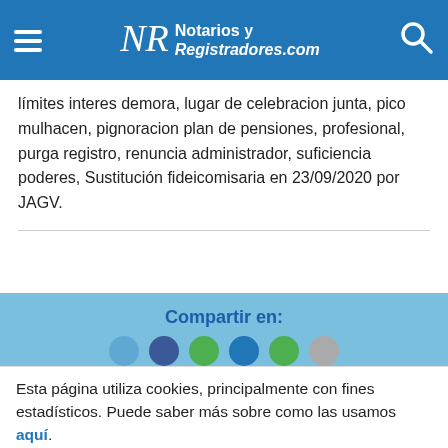Notarios y Registradores.com
límites interes demora, lugar de celebracion junta, pico mulhacen, pignoracion plan de pensiones, profesional, purga registro, renuncia administrador, suficiencia poderes, Sustitución fideicomisaria en 23/09/2020 por JAGV.
Compartir en:
[Figure (illustration): Social media share icon circles (partially visible row)]
Esta página utiliza cookies, principalmente con fines estadísticos. Puede saber más sobre como las usamos aquí. Si continua navegando, entendemos que acepta su uso. ok